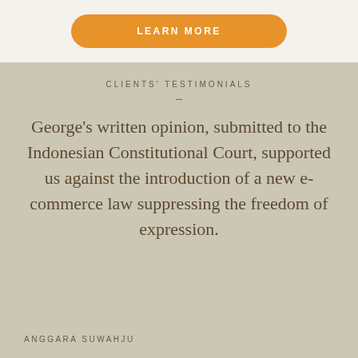LEARN MORE
CLIENTS' TESTIMONIALS
–
George's written opinion, submitted to the Indonesian Constitutional Court, supported us against the introduction of a new e-commerce law suppressing the freedom of expression.
ANGGARA SUWAHJU